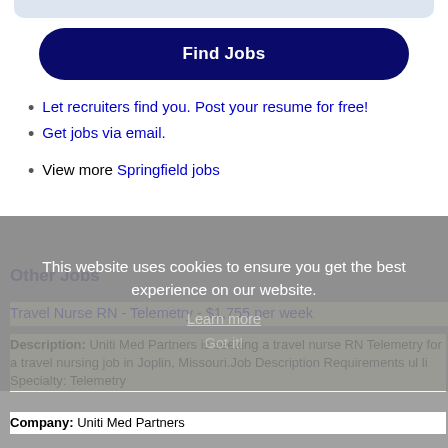[Figure (screenshot): Partial input/search bar at top of page]
Find Jobs
Let recruiters find you. Post your resume for free!
Get jobs via email.
View more Springfield jobs
This website uses cookies to ensure you get the best experience on our website.
Learn more
Got it!
Other Jobs
Travel Nurse RN - Telemetry - $1,755 per week
Description: Uniti Med Partners is seeking a travel nurse RN Telemetry for a travel nursing job in Joplin, Missouri.Job Description Requirements ul li Specialty: Telemetry
Company: Uniti Med Partners